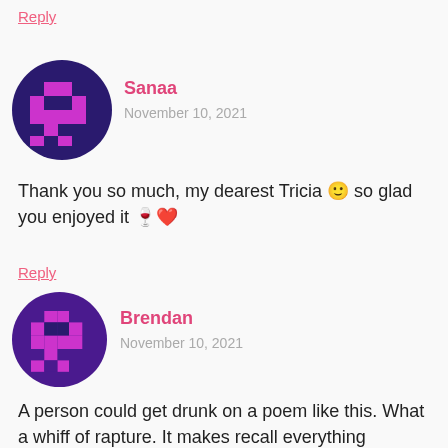Reply
[Figure (illustration): Pixel art avatar: magenta cross/robot shape on dark navy circle background — Sanaa's avatar]
Sanaa
November 10, 2021
Thank you so much, my dearest Tricia 🙂 so glad you enjoyed it 🍷❤️
Reply
[Figure (illustration): Pixel art avatar: magenta robot/cross shape on dark purple circle background — Brendan's avatar]
Brendan
November 10, 2021
A person could get drunk on a poem like this. What a whiff of rapture. It makes recall everything...